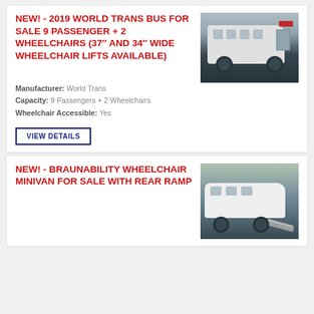NEW! - 2019 WORLD TRANS BUS FOR SALE 9 PASSENGER + 2 WHEELCHAIRS (37" AND 34" WIDE WHEELCHAIR LIFTS AVAILABLE)
[Figure (photo): White World Trans bus with open door, parked on dark pavement]
Manufacturer: World Trans
Capacity: 9 Passengers + 2 Wheelchairs
Wheelchair Accessible: Yes
VIEW DETAILS
NEW! - BRAUNABILITY WHEELCHAIR MINIVAN FOR SALE WITH REAR RAMP
[Figure (photo): White Braunability wheelchair minivan with rear ramp deployed, parked outside a building]